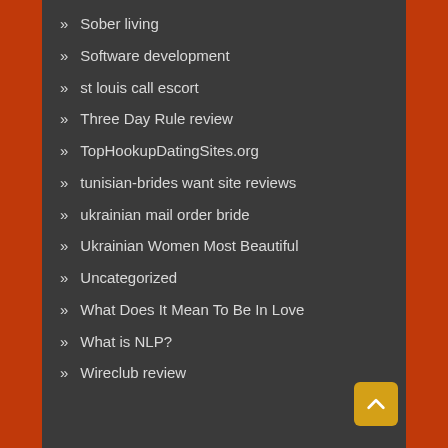Sober living
Software development
st louis call escort
Three Day Rule review
TopHookupDatingSites.org
tunisian-brides want site reviews
ukrainian mail order bride
Ukrainian Women Most Beautiful
Uncategorized
What Does It Mean To Be In Love
What is NLP?
Wireclub review